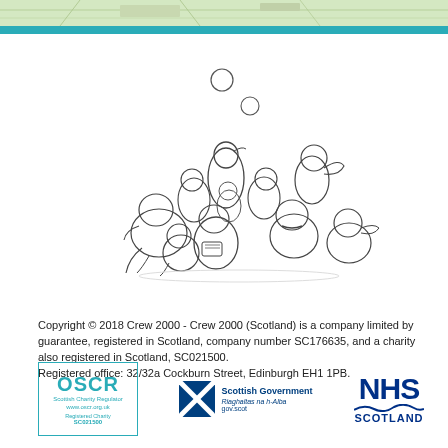[Figure (illustration): Teal bar at top with partial map background]
[Figure (illustration): Cartoon line drawing of a group of penguins/blob creatures piled together, with two circles above them representing bubbles or balls]
Copyright © 2018 Crew 2000 - Crew 2000 (Scotland) is a company limited by guarantee, registered in Scotland, company number SC176635, and a charity also registered in Scotland, SC021500.
Registered office: 32/32a Cockburn Street, Edinburgh EH1 1PB.
[Figure (logo): OSCR Scottish Charity Regulator logo with border, www.oscr.org.uk, Registered Charity SC021500]
[Figure (logo): Scottish Government / Riaghaltas na h-Alba gov.scot logo with saltire flag]
[Figure (logo): NHS Scotland logo in blue]